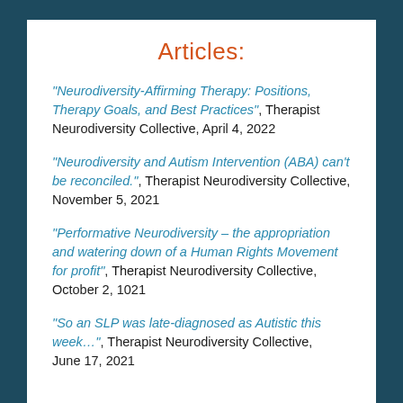Articles:
“Neurodiversity-Affirming Therapy: Positions, Therapy Goals, and Best Practices”, Therapist Neurodiversity Collective, April 4, 2022
“Neurodiversity and Autism Intervention (ABA) can’t be reconciled.”, Therapist Neurodiversity Collective, November 5, 2021
“Performative Neurodiversity – the appropriation and watering down of a Human Rights Movement for profit”, Therapist Neurodiversity Collective, October 2, 1021
“So an SLP was late-diagnosed as Autistic this week…”, Therapist Neurodiversity Collective, June 17, 2021